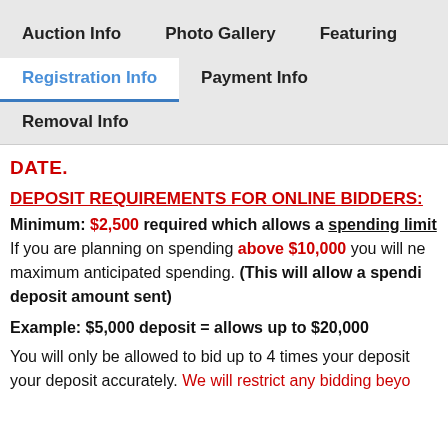Auction Info   Photo Gallery   Featuring
Registration Info   Payment Info
Removal Info
DATE.
DEPOSIT REQUIREMENTS FOR ONLINE BIDDERS:
Minimum: $2,500 required which allows a spending limit of If you are planning on spending above $10,000 you will need to send your maximum anticipated spending. (This will allow a spending limit of 4x the deposit amount sent)
Example: $5,000 deposit = allows up to $20,000
You will only be allowed to bid up to 4 times your deposit so plan your deposit accurately. We will restrict any bidding beyond